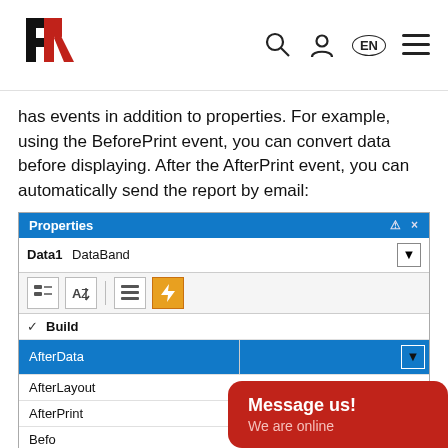FR logo, search icon, user icon, EN language button, menu icon
has events in addition to properties. For example, using the BeforePrint event, you can convert data before displaying. After the AfterPrint event, you can automatically send the report by email:
[Figure (screenshot): Properties panel screenshot showing DataBand object with Build section expanded, items: AfterData (selected/highlighted), AfterLayout, AfterPrint, Befo..., Befo...]
Message us! We are online